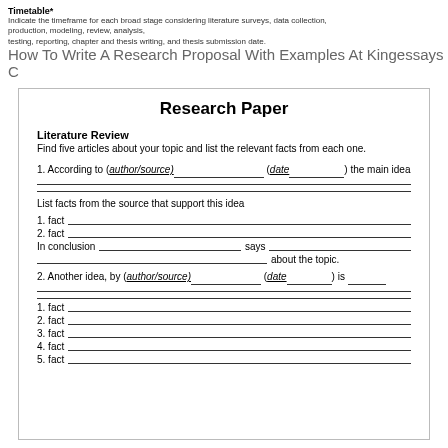Timetable*
Indicate the timeframe for each broad stage considering literature surveys, data collection, production, modeling, review, analysis, testing, reporting, chapter and thesis writing, and thesis submission date.
How To Write A Research Proposal With Examples At Kingessays C
Research Paper
Literature Review
Find five articles about your topic and list the relevant facts from each one.
1. According to (author/source)__________ (date__________) the main idea
List facts from the source that support this idea
1. fact
2. fact
In conclusion __________________________ says __________________________
_____________________________________________ about the topic.
2. Another idea, by (author/source)________________ (date__________) is __________
1. fact
2. fact
3. fact
4. fact
5. fact